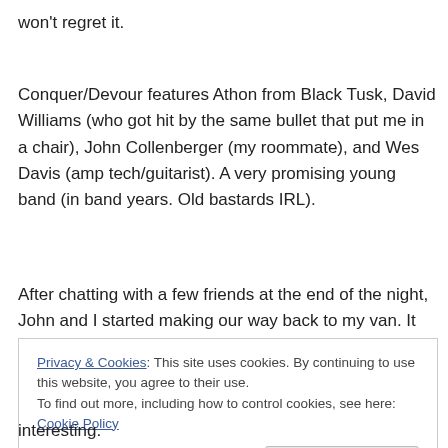won't regret it.
Conquer/Devour features Athon from Black Tusk, David Williams (who got hit by the same bullet that put me in a chair), John Collenberger (my roommate), and Wes Davis (amp tech/guitarist). A very promising young band (in band years. Old bastards IRL).
After chatting with a few friends at the end of the night, John and I started making our way back to my van. It was early in the morning. 3 a.m. We happened to be walking
Privacy & Cookies: This site uses cookies. By continuing to use this website, you agree to their use.
To find out more, including how to control cookies, see here: Cookie Policy
interesting.